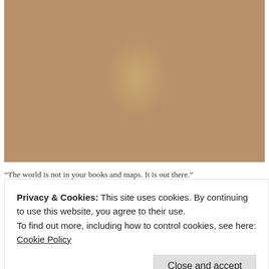[Figure (photo): A woman with long brown hair, wearing a grey top and red shorts with a brown bag, standing in front of a round blue hobbit-hole door covered in green vines and ivy, set into an earthen hill. Round windows visible on either side. Green plants and a small wooden stool in the foreground.]
“The world is not in your books and maps. It is out there.”
Privacy & Cookies: This site uses cookies. By continuing to use this website, you agree to their use.
To find out more, including how to control cookies, see here:
Cookie Policy
Close and accept
[Figure (photo): Partial bottom strip showing green foliage, appears to be the top of another photograph below.]